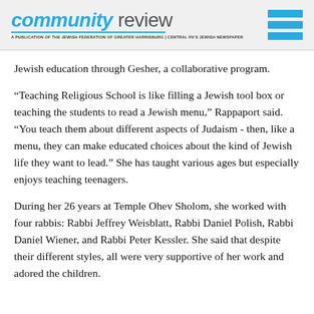community review — A PUBLICATION OF THE JEWISH FEDERATION OF GREATER HARRISBURG | CENTRAL PA'S JEWISH NEWSPAPER
Jewish education through Gesher, a collaborative program.
“Teaching Religious School is like filling a Jewish tool box or teaching the students to read a Jewish menu,” Rappaport said. “You teach them about different aspects of Judaism - then, like a menu, they can make educated choices about the kind of Jewish life they want to lead.” She has taught various ages but especially enjoys teaching teenagers.
During her 26 years at Temple Ohev Sholom, she worked with four rabbis: Rabbi Jeffrey Weisblatt, Rabbi Daniel Polish, Rabbi Daniel Wiener, and Rabbi Peter Kessler. She said that despite their different styles, all were very supportive of her work and adored the children.